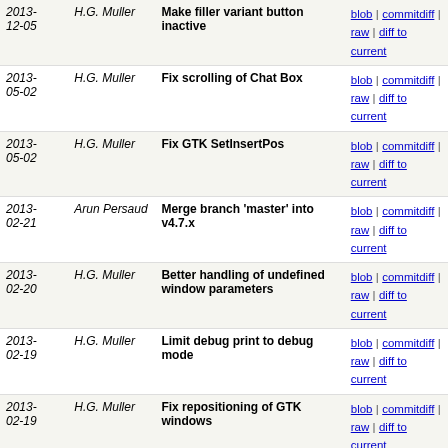| Date | Author | Message | Links |
| --- | --- | --- | --- |
| 2013-12-05 | H.G. Muller | Make filler variant button inactive | blob | commitdiff | raw | diff to current |
| 2013-05-02 | H.G. Muller | Fix scrolling of Chat Box | blob | commitdiff | raw | diff to current |
| 2013-05-02 | H.G. Muller | Fix GTK SetInsertPos | blob | commitdiff | raw | diff to current |
| 2013-02-21 | Arun Persaud | Merge branch 'master' into v4.7.x | blob | commitdiff | raw | diff to current |
| 2013-02-20 | H.G. Muller | Better handling of undefined window parameters | blob | commitdiff | raw | diff to current |
| 2013-02-19 | H.G. Muller | Limit debug print to debug mode | blob | commitdiff | raw | diff to current |
| 2013-02-19 | H.G. Muller | Fix repositioning of GTK windows | blob | commitdiff | raw | diff to current |
| 2013-02-19 | H.G. Muller | Remember window params of slave board | blob | commitdiff | raw | diff to current |
| 2013-02-19 | Arun Persaud | fix OK-response in gtk dialogs, see c7f8df124 | blob | commitdiff | raw | diff to current |
| 2013-02-18 | Arun Persaud | fixed gtk-warning | blob | commitdiff | raw | diff to current |
| 2013-02-18 | H.G. Muller | Fix title of top-level windows | blob | commitdiff | raw | diff to current |
| 2013-02-18 | H.G. Muller | Cure GTK warning in top-level windows | blob | commitdiff | raw | diff to current |
| 2013-02-17 | Arun Persaud | add close buttons to gtk windows | blob | commitdiff | raw | diff to current |